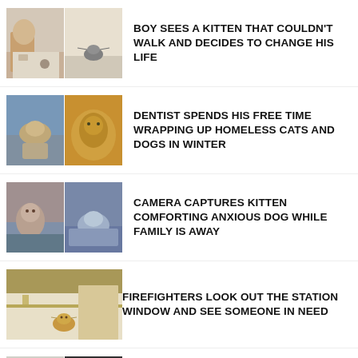[Figure (photo): Two thumbnail images: boy with kitten and kitten on floor]
BOY SEES A KITTEN THAT COULDN'T WALK AND DECIDES TO CHANGE HIS LIFE
[Figure (photo): Two thumbnail images: cat wrapped up and orange cat under blanket]
DENTIST SPENDS HIS FREE TIME WRAPPING UP HOMELESS CATS AND DOGS IN WINTER
[Figure (photo): Two thumbnail images: kitten and dog on couch]
CAMERA CAPTURES KITTEN COMFORTING ANXIOUS DOG WHILE FAMILY IS AWAY
[Figure (photo): Single thumbnail image: small cat at station window]
FIREFIGHTERS LOOK OUT THE STATION WINDOW AND SEE SOMEONE IN NEED
[Figure (photo): Two thumbnail images partially visible at bottom]